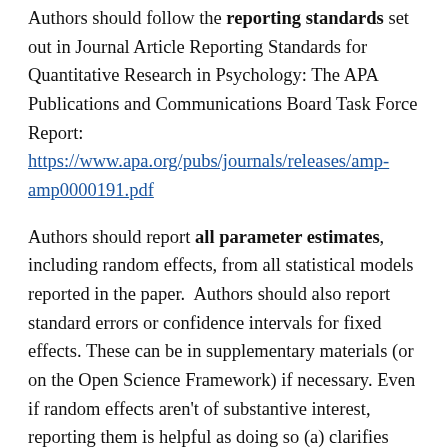Authors should follow the reporting standards set out in Journal Article Reporting Standards for Quantitative Research in Psychology: The APA Publications and Communications Board Task Force Report: https://www.apa.org/pubs/journals/releases/amp-amp0000191.pdf
Authors should report all parameter estimates, including random effects, from all statistical models reported in the paper. Authors should also report standard errors or confidence intervals for fixed effects. These can be in supplementary materials (or on the Open Science Framework) if necessary. Even if random effects aren't of substantive interest, reporting them is helpful as doing so (a) clarifies model specification to readers, (b) indicates the extent experimental effects vary across participants and items, and (c) can provide information about model non-